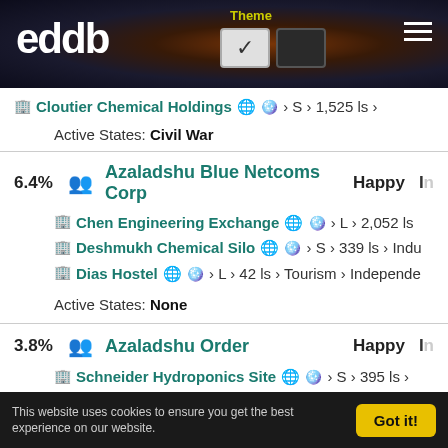eddb - Theme toggle header with logo and hamburger menu
Cloutier Chemical Holdings > S > 1,525 ls
Active States: Civil War
6.4% Azaladshu Blue Netcoms Corp Happy I
Chen Engineering Exchange > L > 2,052 ls
Deshmukh Chemical Silo > S > 339 ls > Indu
Dias Hostel > L > 42 ls > Tourism > Independe
Active States: None
3.8% Azaladshu Order Happy I
Schneider Hydroponics Site > S > 395 ls
This website uses cookies to ensure you get the best experience on our website. Got it!